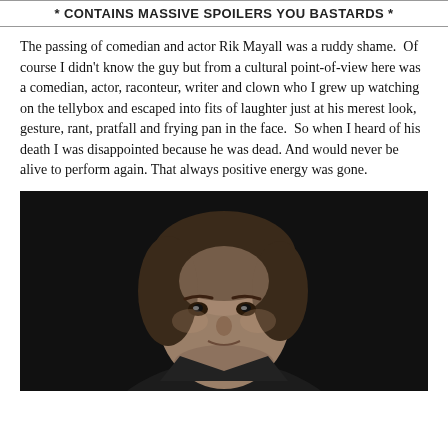* CONTAINS MASSIVE SPOILERS YOU BASTARDS *
The passing of comedian and actor Rik Mayall was a ruddy shame.  Of course I didn't know the guy but from a cultural point-of-view here was a comedian, actor, raconteur, writer and clown who I grew up watching on the tellybox and escaped into fits of laughter just at his merest look, gesture, rant, pratfall and frying pan in the face.  So when I heard of his death I was disappointed because he was dead. And would never be alive to perform again. That always positive energy was gone.
[Figure (photo): Black and white portrait photograph of a man with medium-length dark hair against a dark background, looking slightly to the side with a subtle expression.]